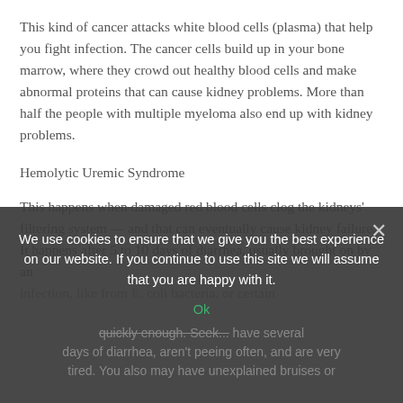This kind of cancer attacks white blood cells (plasma) that help you fight infection. The cancer cells build up in your bone marrow, where they crowd out healthy blood cells and make abnormal proteins that can cause kidney problems. More than half the people with multiple myeloma also end up with kidney problems.
Hemolytic Uremic Syndrome
This happens when damaged red blood cells clog the kidneys' filtering system — and that can eventually cause kidney failure. It happens after 5 to 10 days of diarrhea, usually brought on by an infection, like from E. coli bacteria, or certain... quickly enough. Seek... have several days of diarrhea, aren't peeing often, and are very tired. You also may have unexplained bruises or
We use cookies to ensure that we give you the best experience on our website. If you continue to use this site we will assume that you are happy with it.